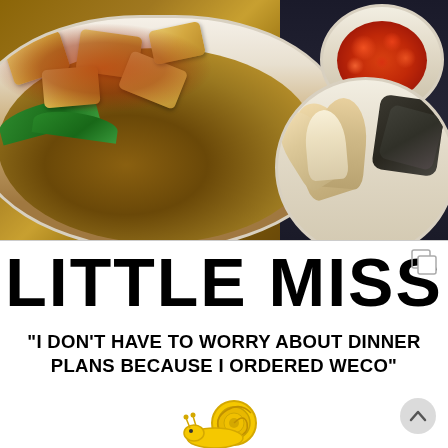[Figure (photo): Overhead photo of Asian food: a bowl of noodles with fried tofu and spicy sauce on the left, a small bowl of chili sauce top right, and a bowl with cabbage/endive and dark food on the right, on a dark surface.]
LITTLE MISS
"I DON'T HAVE TO WORRY ABOUT DINNER PLANS BECAUSE I ORDERED WECO"
[Figure (illustration): Yellow snail cartoon logo at the bottom center]